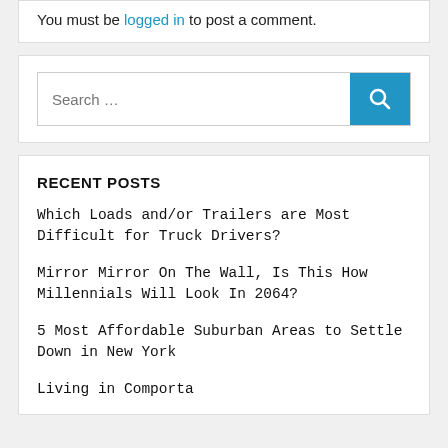You must be logged in to post a comment.
Search ...
RECENT POSTS
Which Loads and/or Trailers are Most Difficult for Truck Drivers?
Mirror Mirror On The Wall, Is This How Millennials Will Look In 2064?
5 Most Affordable Suburban Areas to Settle Down in New York
Living in Comporta